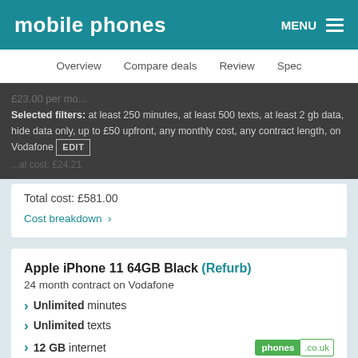mobile phones  MENU
Overview  Compare deals  Review  Spec
Selected filters: at least 250 minutes, at least 500 texts, at least 2 gb data, hide data only, up to £50 upfront, any monthly cost, any contract length, on Vodafone EDIT
Total cost: £581.00
Cost breakdown ›
Apple iPhone 11 64GB Black (Refurb)
24 month contract on Vodafone
Unlimited minutes
Unlimited texts
12 GB internet
£29.00 upfront